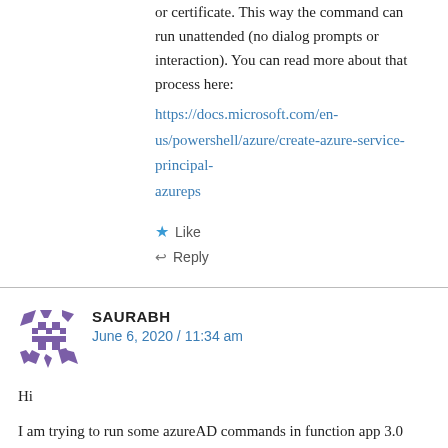or certificate. This way the command can run unattended (no dialog prompts or interaction). You can read more about that process here:
https://docs.microsoft.com/en-us/powershell/azure/create-azure-service-principal-azureps
Like
Reply
SAURABH
June 6, 2020 / 11:34 am
Hi
I am trying to run some azureAD commands in function app 3.0 in C#
and I am getting an exception “ClassName”:
#System.Management.Automation.CommandNotFoundException